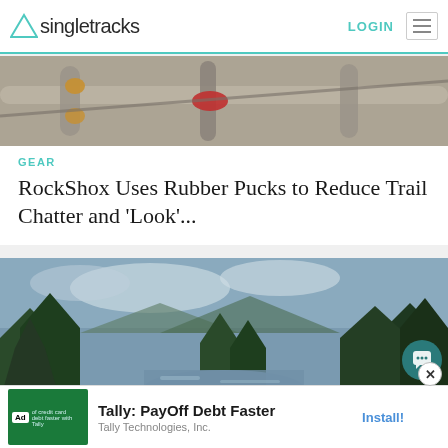singletracks | LOGIN
[Figure (photo): Close-up photo of bicycle suspension components, handlebars with red accent, metallic tubes]
GEAR
RockShox Uses Rubber Pucks to Reduce Trail Chatter and 'Look'...
[Figure (photo): Landscape photo of a river with forest and mountains in background under cloudy sky]
Ad  Tally: PayOff Debt Faster  Tally Technologies, Inc.  Install!